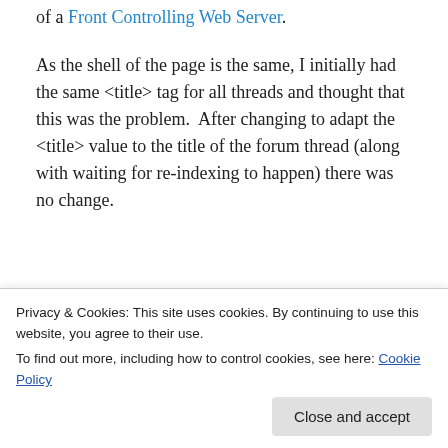of a Front Controlling Web Server.
As the shell of the page is the same, I initially had the same <title> tag for all threads and thought that this was the problem.  After changing to adapt the <title> value to the title of the forum thread (along with waiting for re-indexing to happen) there was no change.
[Figure (screenshot): Advertisement banner for Longreads: dark/black background with a red circular logo, text 'LONGREADS' and tagline 'Read anything great lately?']
Finally, through checking the index of Solution Exchange
Privacy & Cookies: This site uses cookies. By continuing to use this website, you agree to their use. To find out more, including how to control cookies, see here: Cookie Policy
thread was only accessible through a URL like